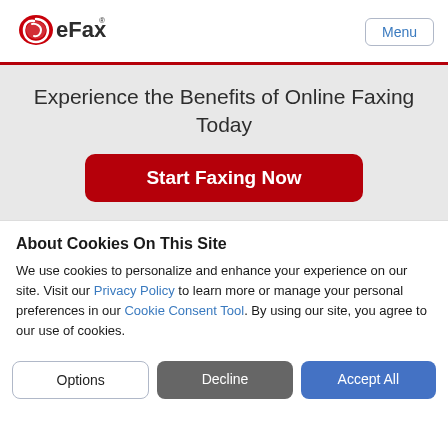[Figure (logo): eFax logo — red spiral with eFax text in dark grey, registered trademark symbol]
Experience the Benefits of Online Faxing Today
[Figure (other): Start Faxing Now — red rounded button with white bold text]
About Cookies On This Site
We use cookies to personalize and enhance your experience on our site. Visit our Privacy Policy to learn more or manage your personal preferences in our Cookie Consent Tool. By using our site, you agree to our use of cookies.
Options | Decline | Accept All